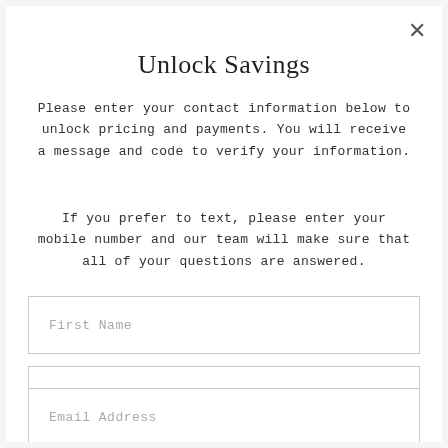Unlock Savings
Please enter your contact information below to unlock pricing and payments. You will receive a message and code to verify your information.
If you prefer to text, please enter your mobile number and our team will make sure that all of your questions are answered.
First Name
Last Name
Email Address